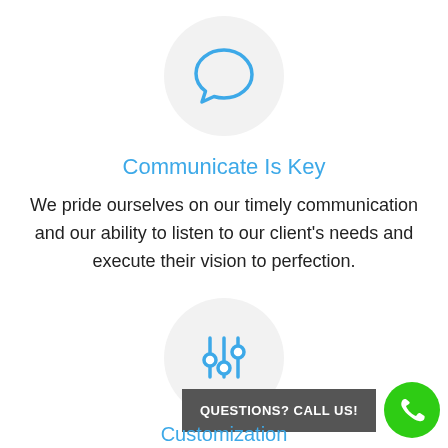[Figure (illustration): Chat bubble icon in blue inside a light gray circle]
Communicate Is Key
We pride ourselves on our timely communication and our ability to listen to our client's needs and execute their vision to perfection.
[Figure (illustration): Sliders/equalizer icon in blue inside a light gray circle]
QUESTIONS? CALL US!
Customization